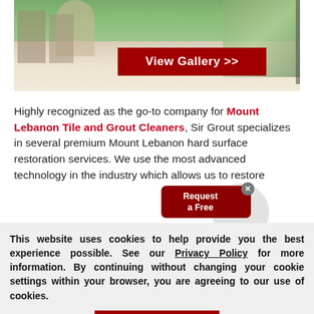[Figure (photo): Interior photo of a dining room with white tiled floor, arched doorways, and large windows with green trees visible outside. A red 'View Gallery >>' button overlays the lower center of the image.]
Highly recognized as the go-to company for Mount Lebanon Tile and Grout Cleaners, Sir Grout specializes in several premium Mount Lebanon hard surface restoration services. We use the most advanced technology in the industry which allows us to restore
This website uses cookies to help provide you the best experience possible. See our Privacy Policy for more information. By continuing without changing your cookie settings within your browser, you are agreeing to our use of cookies.
ACCEPT